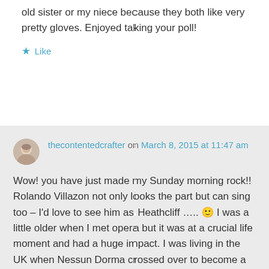old sister or my niece because they both like very pretty gloves. Enjoyed taking your poll!
Like
thecontentedcrafter on March 8, 2015 at 11:47 am
Wow! you have just made my Sunday morning rock!! Rolando Villazon not only looks the part but can sing too – I'd love to see him as Heathcliff ….. 🙂 I was a little older when I met opera but it was at a crucial life moment and had a huge impact. I was living in the UK when Nessun Dorma crossed over to become a pop hit due to the World Cup and I credit that with